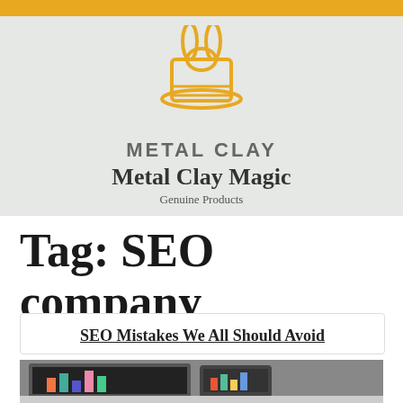[Figure (logo): Metal Clay Magic logo: orange/gold magician hat with rabbit ears, text 'METAL CLAY' in gray uppercase letters, 'Metal Clay Magic' in dark serif, 'Genuine Products' tagline below]
Tag: SEO company
SEO Mistakes We All Should Avoid
[Figure (photo): Partial photo of laptop/tablet showing analytics charts with colorful bars, on a desk]